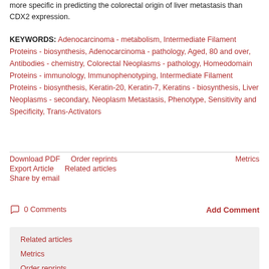more specific in predicting the colorectal origin of liver metastasis than CDX2 expression.
KEYWORDS: Adenocarcinoma - metabolism, Intermediate Filament Proteins - biosynthesis, Adenocarcinoma - pathology, Aged, 80 and over, Antibodies - chemistry, Colorectal Neoplasms - pathology, Homeodomain Proteins - immunology, Immunophenotyping, Intermediate Filament Proteins - biosynthesis, Keratin-20, Keratin-7, Keratins - biosynthesis, Liver Neoplasms - secondary, Neoplasm Metastasis, Phenotype, Sensitivity and Specificity, Trans-Activators
Download PDF
Order reprints
Metrics
Export Article
Related articles
Share by email
0 Comments
Add Comment
Related articles
Metrics
Order reprints